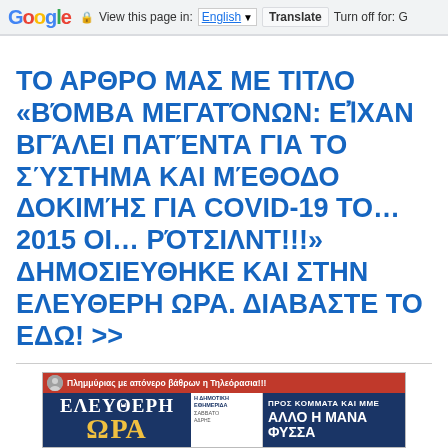Google  View this page in: English  Translate  Turn off for: G
ΤΟ ΑΡΘΡΟ ΜΑΣ ΜΕ ΤΙΤΛΟ «ΒΌΜΒΑ ΜΕΓΑΤΌΝΩΝ: ΕἸΧΑΝ ΒΓΆΛΕΙ ΠΑΤΈΝΤΑ ΓΙΑ ΤΟ ΣΎΣΤΗΜΑ ΚΑΙ ΜΈΘΟΔΟ ΔΟΚΙΜΉΣ ΓΙΑ COVID-19 ΤΟ… 2015 ΟΙ… ΡΌΤΣΙΛΝΤ!!!» ΔΗΜΟΣΙΕΥΘΗΚΕ ΚΑΙ ΣΤΗΝ ΕΛΕΥΘΕΡΗ ΩΡΑ. ΔΙΑΒΑΣΤΕ ΤΟ ΕΔΩ! >>
[Figure (photo): Newspaper front page of ΕΛΕΥΘΕΡΗ ΩΡΑ showing headline ΠΡΟΣ ΚΟΜΜΑΤΑ ΚΑΙ ΜΜΕ ΑΛΛΟ Η ΜΑΝΑ ΦΥΣΣΑ]